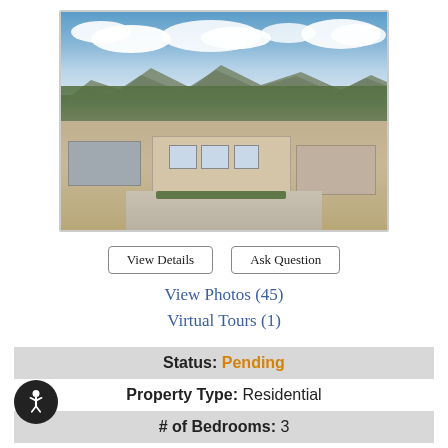[Figure (photo): Aerial view of a single-story residential property with beige/tan exterior, carport on the left, attached garage on the right, surrounded by trees with mountains and blue sky in the background.]
View Details | Ask Question
View Photos (45)
Virtual Tours (1)
Status: Pending
Property Type: Residential
# of Bedrooms: 3